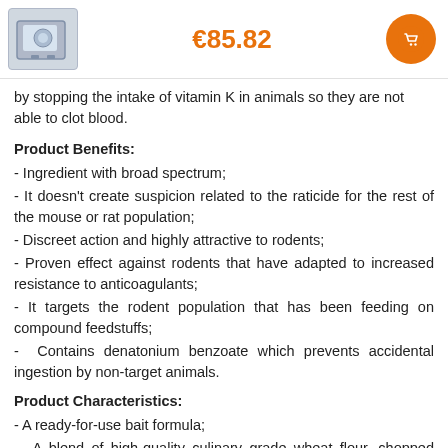€85.82
by stopping the intake of vitamin K in animals so they are not able to clot blood.
Product Benefits:
- Ingredient with broad spectrum;
- It doesn't create suspicion related to the raticide for the rest of the mouse or rat population;
- Discreet action and highly attractive to rodents;
- Proven effect against rodents that have adapted to increased resistance to anticoagulants;
- It targets the rodent population that has been feeding on compound feedstuffs;
- Contains denatonium benzoate which prevents accidental ingestion by non-target animals.
Product Characteristics:
- A ready-for-use bait formula;
- A blend of high-quality culinary grade wheat flour, chopped grain, soft lard, and synthetic peanut flavoring, providing a complete meal for rodents.